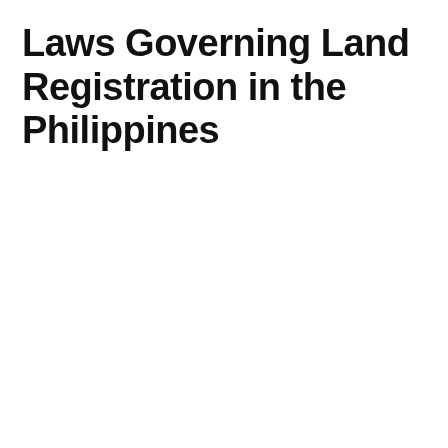Laws Governing Land Registration in the Philippines
[Figure (other): Advertisement box for Topgolf Ashburn location showing logo, open status, hours 10AM-1AM, address 20356 Commonwealth Ce..., navigation arrow, play button and close button controls]